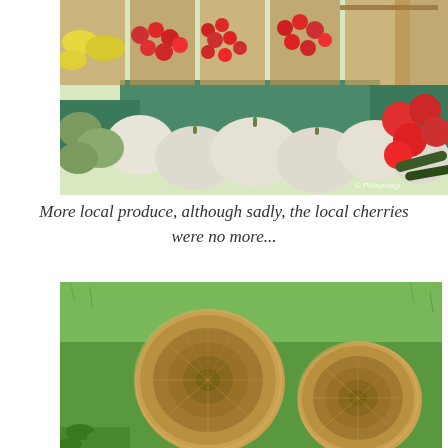[Figure (photo): Outdoor market stall displaying a variety of local produce including white squash/pumpkins, red tomatoes, melons, and other vegetables in wooden crates on a green-painted stand. Watermark reads '© PHaymagi'.]
More local produce, although sadly, the local cherries were no more...
[Figure (photo): Two large round hay bales resting on a green grass field. The bales show dried golden-brown straw texture on their circular ends.]